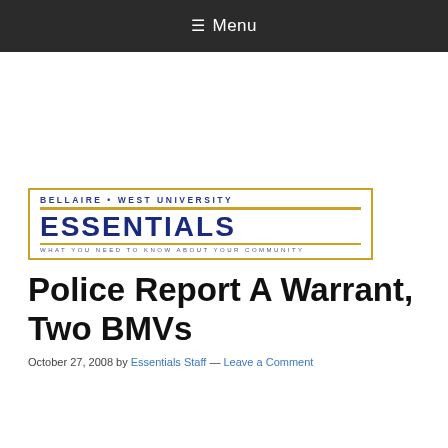≡ Menu
[Figure (logo): Bellaire West University Essentials logo — 'BELLAIRE • WEST UNIVERSITY' in blue small caps above a large bold 'ESSENTIALS' in dark navy, with gold border lines and tagline 'WHAT YOU NEED TO KNOW ABOUT YOUR COMMUNITY']
Police Report A Warrant, Two BMVs
October 27, 2008 by Essentials Staff — Leave a Comment